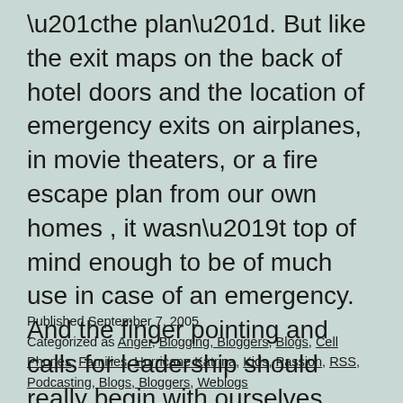“the plan”. But like the exit maps on the back of hotel doors and the location of emergency exits on airplanes, in movie theaters, or a fire escape plan from our own homes , it wasn’t top of mind enough to be of much use in case of an emergency. And the finger pointing and calls for leadership should really begin with ourselves...
Published September 7, 2005
Categorized as Anger, Blogging, Bloggers, Blogs, Cell Phones, Families, Hurricane Katrina, Kids, Passion, RSS, Podcasting, Blogs, Bloggers, Weblogs